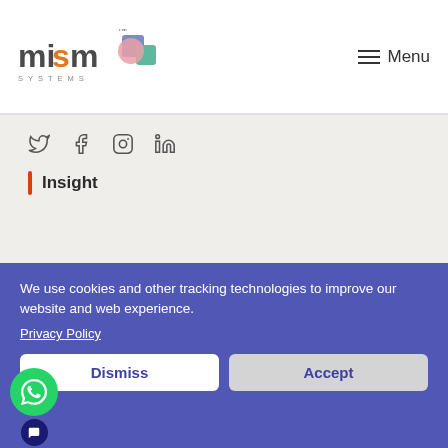[Figure (logo): Mismo Systems logo with colorful icon and text]
≡ Menu
[Figure (infographic): Social media icons: Twitter, Facebook, Instagram, LinkedIn]
Insight
We use cookies and other tracking technologies to improve our website and web experience.
Privacy Policy
Dismiss
Accept
Delhi, Delhi 110034